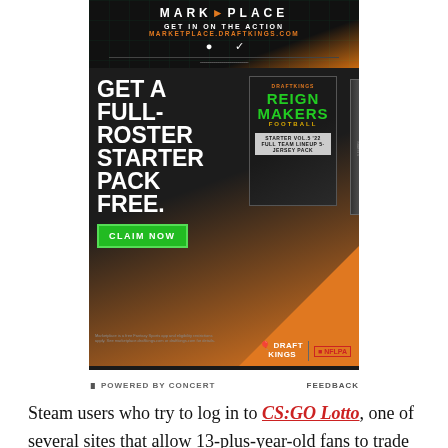[Figure (illustration): DraftKings Marketplace advertisement showing 'GET A FULL-ROSTER STARTER PACK FREE.' with a Reign Makers Football card pack image, CLAIM NOW button, DraftKings and NFLPA logos. Top section shows MARKETPLACE header with GET IN ON THE ACTION and MARKETPLACE.DRAFTKINGS.COM URL with Discord and Twitter icons.]
POWERED BY CONCERT    FEEDBACK
Steam users who try to log in to CS:GO Lotto, one of several sites that allow 13-plus-year-old fans to trade weapon skins for actual, big money, will now be met with a warning. "The URL you are attempting to load